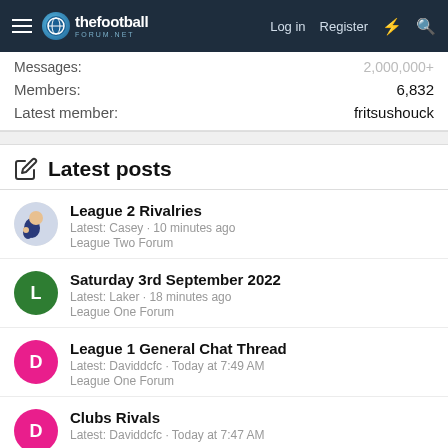thefootballforum.net — Log in | Register
Messages: 2,000,000+
Members: 6,832
Latest member: fritsushouck
Latest posts
League 2 Rivalries
Latest: Casey · 10 minutes ago
League Two Forum
Saturday 3rd September 2022
Latest: Laker · 18 minutes ago
League One Forum
League 1 General Chat Thread
Latest: Daviddcfc · Today at 7:49 AM
League One Forum
Clubs Rivals
Latest: Daviddcfc · Today at 7:47 AM